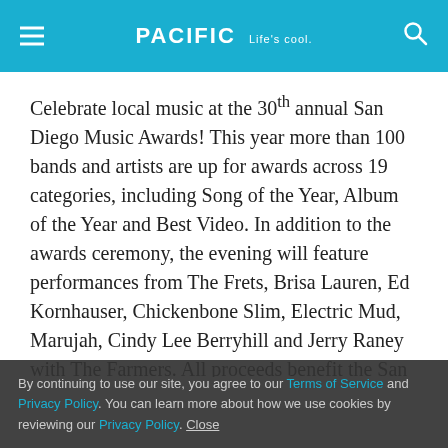PACIFIC Life's cool.
Celebrate local music at the 30th annual San Diego Music Awards! This year more than 100 bands and artists are up for awards across 19 categories, including Song of the Year, Album of the Year and Best Video. In addition to the awards ceremony, the evening will feature performances from The Frets, Brisa Lauren, Ed Kornhauser, Chickenbone Slim, Electric Mud, Marujah, Cindy Lee Berryhill and Jerry Raney with The Farmers. All proceeds benefit the San Diego Music Foundation's Guitars for Schools program. 7 p.m. at Humphreys Concert by the Bay, 2241 Shelter Island. General admission is $35, with $100 for VIP
By continuing to use our site, you agree to our Terms of Service and Privacy Policy. You can learn more about how we use cookies by reviewing our Privacy Policy. Close